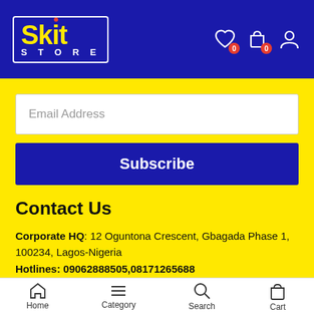Skit STORE — header with logo and icons (heart with badge 0, cart with badge 0, user icon)
Email Address
Subscribe
Contact Us
Corporate HQ: 12 Oguntona Crescent, Gbagada Phase 1, 100234, Lagos-Nigeria
Hotlines: 09062888505,08171265688
Home  Category  Search  Cart